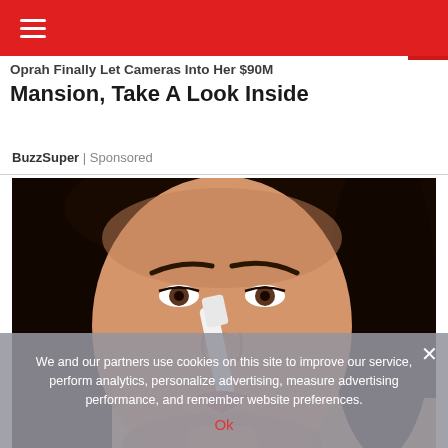☰ [navigation menu]
Oprah Finally Let Cameras Into Her $90M Mansion, Take A Look Inside
BuzzSuper | Sponsored
[Figure (photo): Close-up photo of a woman with long dark hair applying a white nose strip or beauty tool to her nose]
We and our partners use cookies on this site to improve our service, perform analytics, personalize advertising, measure advertising performance, and remember website preferences.
Ok